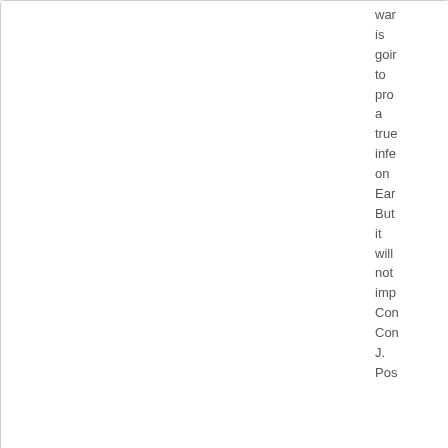war is going to pro a true info on Ear But it will not imp Con Con J. Pos
[Figure (other): Aboriginal Australian flag — horizontal tricolor: black top half, red bottom half, yellow circle in center]
Salvatiotan
Lobbyist

Posts: 20
Founded: Sep 13, 2021
QUOTE
by Salvatiotan
» Mon Jan 03, 2022 2:17